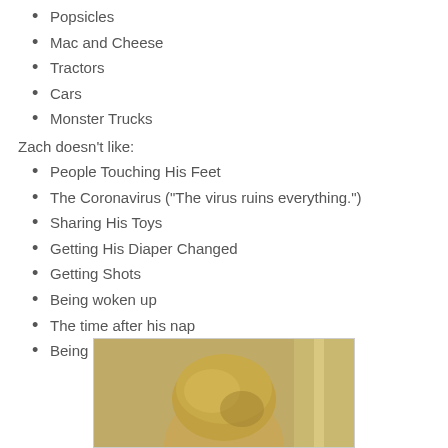Popsicles
Mac and Cheese
Tractors
Cars
Monster Trucks
Zach doesn't like:
People Touching His Feet
The Coronavirus ("The virus ruins everything.")
Sharing His Toys
Getting His Diaper Changed
Getting Shots
Being woken up
The time after his nap
Being hungry
[Figure (photo): Photo of a young child (Zach) seen from behind/side, with blonde hair, warm brown background]